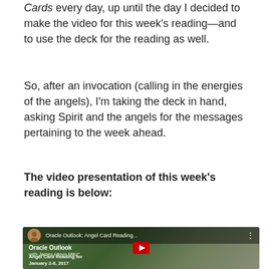Cards every day, up until the day I decided to make the video for this week's reading—and to use the deck for the reading as well.
So, after an invocation (calling in the energies of the angels), I'm taking the deck in hand, asking Spirit and the angels for the messages pertaining to the week ahead.
The video presentation of this week's reading is below:
[Figure (screenshot): YouTube video thumbnail for 'Oracle Outlook: Angel Card Reading...' by Oracle Outlook with James Himm Mitchell. Shows a lantern in a garden background with a red YouTube play button. Text overlay reads 'Oracle Outlook with James Himm Mitchell' and 'Angel Card Reading for January 2-8, 2017'.]